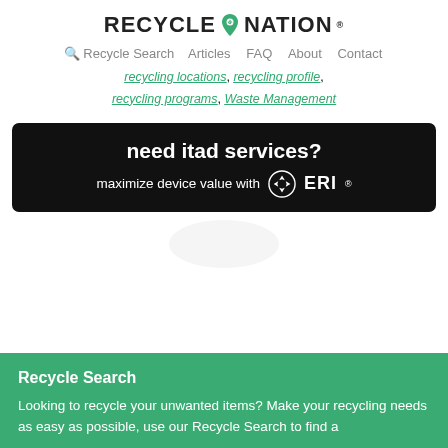RECYCLE NATION
Recycle Search  Articles  FAQ  About  Contact
recycling locations, recycling profile, recycling programs, Waste Management
[Figure (infographic): Black banner advertisement: 'need itad services? maximize device value with ERI']
Recycle Search
Looking to recycle your unwanted items? Make your recycling needs as easy as possible, use our Recycle Search to find a